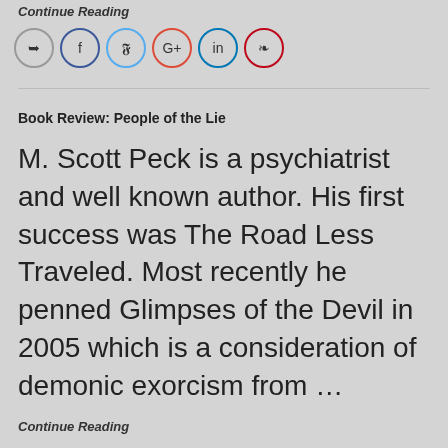Continue Reading
[Figure (other): Social sharing icons: share arrow, Facebook, Twitter, Google+, LinkedIn, Pinterest]
Book Review: People of the Lie
M. Scott Peck is a psychiatrist and well known author. His first success was The Road Less Traveled. Most recently he penned Glimpses of the Devil in 2005 which is a consideration of demonic exorcism from …
Continue Reading